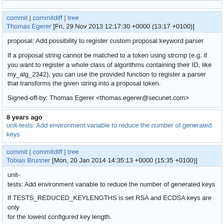commit | commitdiff | tree
Thomas Egerer [Fri, 29 Nov 2013 12:17:30 +0000 (13:17 +0100)]
proposal: Add possibility to register custom proposal keyword parser

If a proposal string cannot be matched to a token using strcmp (e.g. if you want to register a whole class of algorithms containing their ID, like my_alg_2342), you can use the provided function to register a parser that transforms the given string into a proposal token.

Signed-off-by: Thomas Egerer <thomas.egerer@secunet.com>
8 years ago   unit-tests: Add environment variable to reduce the number of generated keys
commit | commitdiff | tree
Tobias Brunner [Mon, 20 Jan 2014 14:35:13 +0000 (15:35 +0100)]
unit-
tests: Add environment variable to reduce the number of generated keys

If TESTS_REDUCED_KEYLENGTHS is set RSA and ECDSA keys are only generated for the lowest configured key length.